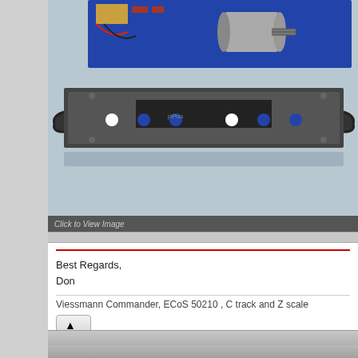[Figure (photo): Disassembled model train chassis with blue motor block on top and black metal chassis frame below, shown on a gray surface. Image has a dark bar at bottom reading 'Click to View Image'.]
Best Regards,
Don
Viessmann Commander, ECoS 50210 , C track and Z scale
2 users liked this useful post by Donb
parakiet , Zme